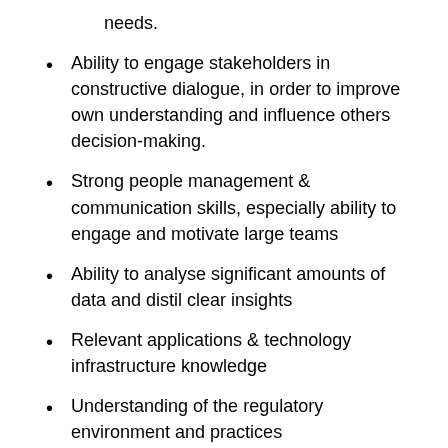needs.
Ability to engage stakeholders in constructive dialogue, in order to improve own understanding and influence others decision-making.
Strong people management & communication skills, especially ability to engage and motivate large teams
Ability to analyse significant amounts of data and distil clear insights
Relevant applications & technology infrastructure knowledge
Understanding of the regulatory environment and practices
Project Management and Change Management skills
Committed to driving own team's progress and delivering agreed outcomes